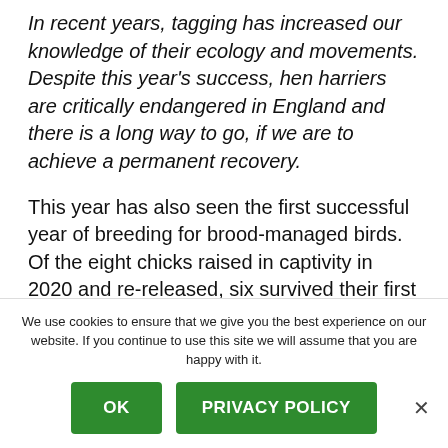In recent years, tagging has increased our knowledge of their ecology and movements. Despite this year's success, hen harriers are critically endangered in England and there is a long way to go, if we are to achieve a permanent recovery.
This year has also seen the first successful year of breeding for brood-managed birds. Of the eight chicks raised in captivity in 2020 and re-released, six survived their first winter, and four of these birds went on to successfully breed.
We use cookies to ensure that we give you the best experience on our website. If you continue to use this site we will assume that you are happy with it.
OK
PRIVACY POLICY